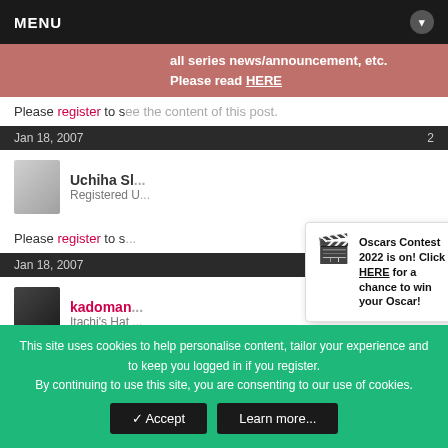MENU
all series news/announcement, etc. Please read HERE
Please register to see the content of this post.
Jan 18, 2007
Uchiha Sl... Registered U...
[Figure (infographic): Popup notification: Oscars Contest 2022 is on! Click HERE for a chance to win your Oscar! with movie clapperboard icon and X close button]
Please register to s...
Jan 18, 2007
kadoman... Itachi's Hat ...
[Figure (infographic): Popup notification: It's back! MH presents a celebration of manga/anime culture; Mangahelpers Awards 2022 is NOW LIVE! with star award icon and X close button]
This site uses cookies to help personalise content, tailor your experience and to keep you logged in if you register. By continuing to use this site, you are consenting to our use of cookies.
✓ Accept   Learn more...